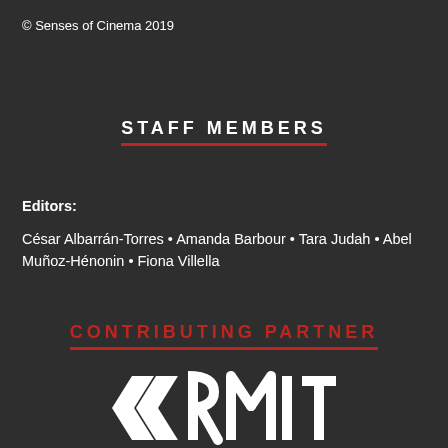© Senses of Cinema 2019
STAFF MEMBERS
Editors:
César Albarrán-Torres • Amanda Barbour • Tara Judah • Abel Muñoz-Hénonin • Fiona Villella
CONTRIBUTING PARTNER
[Figure (logo): RMIT University logo in white on dark background, partially visible at bottom of page]